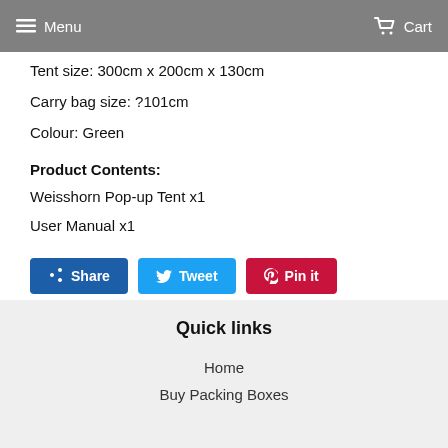Menu  Cart
Tent size: 300cm x 200cm x 130cm
Carry bag size: ?101cm
Colour: Green
Product Contents:
Weisshorn Pop-up Tent x1
User Manual x1
[Figure (other): Social sharing buttons: Share (Facebook, blue), Tweet (Twitter, light blue), Pin it (Pinterest, red)]
Quick links
Home
Buy Packing Boxes